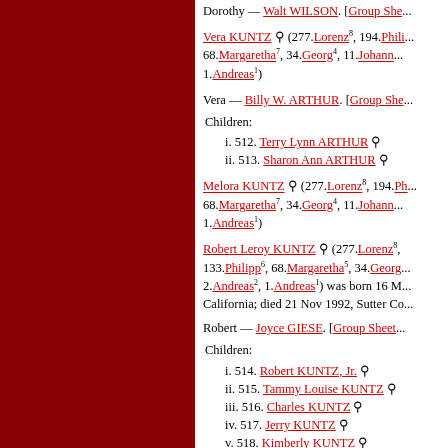Dorothy — Walt WILSON. [Group Sheet...
400. Vera KUNTZ ♣ (277.Lorenz⁸, 194.Phili..., 68.Margaretha⁷, 34.Georg⁴, 11.Johann..., 1.Andreas¹)
Vera — Billy W. ARTHUR. [Group Sheet...
Children:
i. 512. Terry Lynn ARTHUR ♣
ii. 513. Sharon Ann ARTHUR ♣
401. Melora KUNTZ ♣ (277.Lorenz⁸, 194.Ph..., 68.Margaretha⁷, 34.Georg⁴, 11.Johann..., 1.Andreas¹)
402. Robert Leroy KUNTZ ♣ (277.Lorenz⁸, 133.Philipp⁶, 68.Margaretha⁵, 34.Georg..., 2.Andreas², 1.Andreas¹) was born 16 M... California; died 21 Nov 1992, Sutter Co...
Robert — Joyce GIESE. [Group Sheet...
Children:
i. 514. Robert KUNTZ, Jr. ♣
ii. 515. Tammy Louise KUNTZ ♣
iii. 516. Charles KUNTZ ♣
iv. 517. Jerry KUNTZ ♣
v. 518. Kimberly KUNTZ ♣